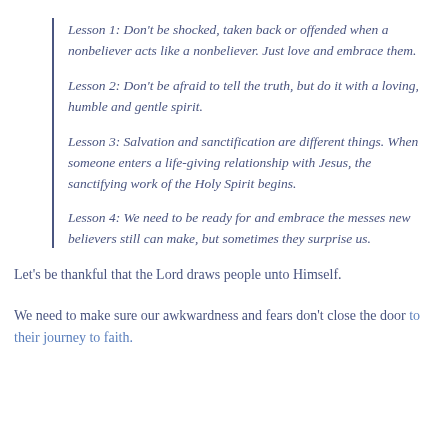Lesson 1: Don't be shocked, taken back or offended when a nonbeliever acts like a nonbeliever. Just love and embrace them.
Lesson 2: Don't be afraid to tell the truth, but do it with a loving, humble and gentle spirit.
Lesson 3: Salvation and sanctification are different things. When someone enters a life-giving relationship with Jesus, the sanctifying work of the Holy Spirit begins.
Lesson 4: We need to be ready for and embrace the messes new believers still can make, but sometimes they surprise us.
Let's be thankful that the Lord draws people unto Himself.
We need to make sure our awkwardness and fears don't close the door to their journey to faith.